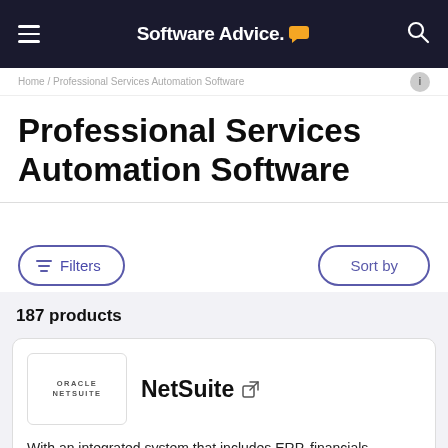Software Advice
Home / Professional Services Automation Software
Professional Services Automation Software
Filters  |  Sort by
187 products
NetSuite
With an integrated system that includes ERP, financials, commerce, inventory management, HR,